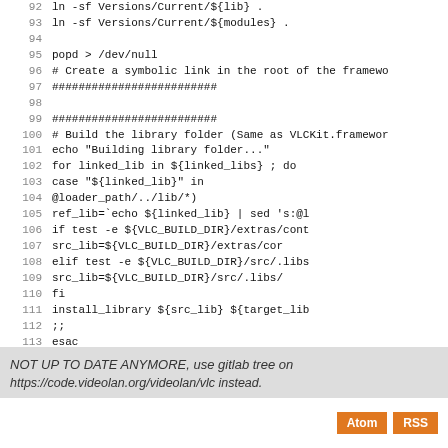Code listing lines 92-118: shell script for building VLC framework library folder
NOT UP TO DATE ANYMORE, use gitlab tree on https://code.videolan.org/videolan/vlc instead.
Atom  RSS